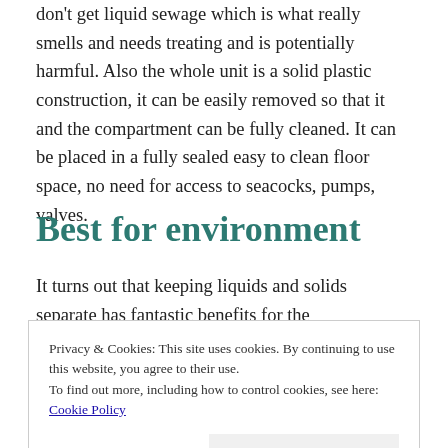don't get liquid sewage which is what really smells and needs treating and is potentially harmful. Also the whole unit is a solid plastic construction, it can be easily removed so that it and the compartment can be fully cleaned. It can be placed in a fully sealed easy to clean floor space, no need for access to seacocks, pumps, valves.
Best for environment
It turns out that keeping liquids and solids separate has fantastic benefits for the environment. If you have access
Privacy & Cookies: This site uses cookies. By continuing to use this website, you agree to their use.
To find out more, including how to control cookies, see here: Cookie Policy
Close and accept